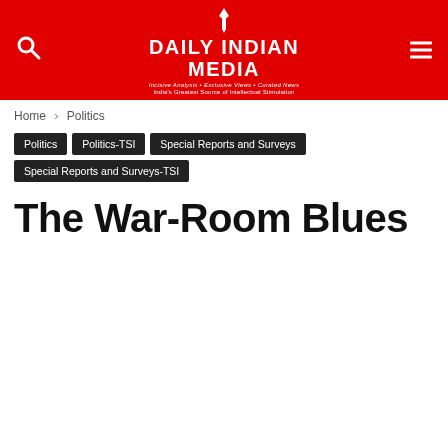DAILY INDIAN MEDIA — Incisive Analysis • Exclusive Views • Curated News — India's Greatest Source of Intellectual Stimulation
Home › Politics
Politics | Politics-TSI | Special Reports and Surveys | Special Reports and Surveys-TSI
The War-Room Blues